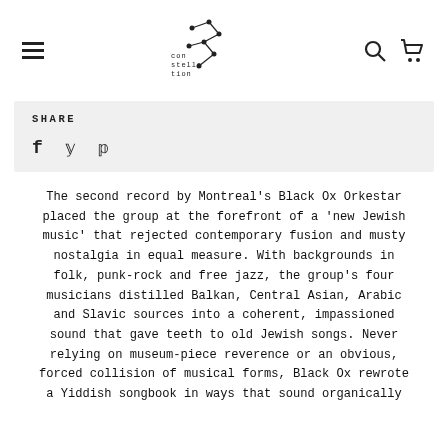[hamburger menu] [Constellation logo] [search icon] [cart icon]
SHARE
f  y  p
The second record by Montreal's Black Ox Orkestar placed the group at the forefront of a 'new Jewish music' that rejected contemporary fusion and musty nostalgia in equal measure. With backgrounds in folk, punk-rock and free jazz, the group's four musicians distilled Balkan, Central Asian, Arabic and Slavic sources into a coherent, impassioned sound that gave teeth to old Jewish songs. Never relying on museum-piece reverence or an obvious, forced collision of musical forms, Black Ox rewrote a Yiddish songbook in ways that sound organically